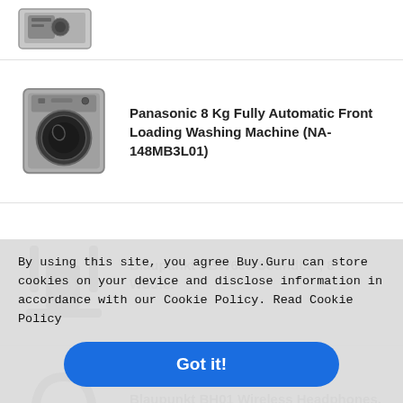[Figure (photo): Partial image of a silver appliance at top of page]
[Figure (photo): Panasonic 8 Kg front loading washing machine, silver/dark color]
Panasonic 8 Kg Fully Automatic Front Loading Washing Machine (NA-148MB3L01)
[Figure (photo): Blaupunkt SBW600 soundbar with 8 inch woofer and satellite speakers]
Blaupunkt SBW600 Soundbar, 8" Woofer
[Figure (photo): Blaupunkt BH01 wireless headphones, over-ear, dark color]
Blaupunkt BH01 Wireless Headphones, 40mm Driver
By using this site, you agree Buy.Guru can store cookies on your device and disclose information in accordance with our Cookie Policy. Read Cookie Policy